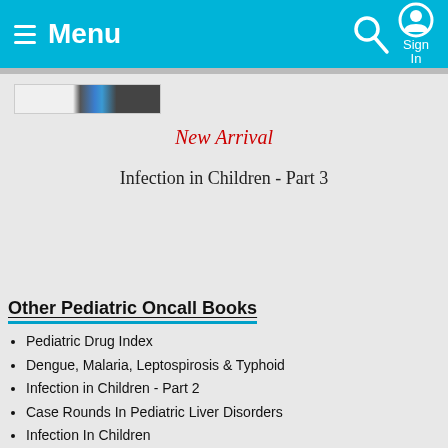≡ Menu   Sign In
[Figure (photo): Partial book cover image strip showing a medical book cover with blue tones]
New Arrival
Infection in Children - Part 3
Other Pediatric Oncall Books
Pediatric Drug Index
Dengue, Malaria, Leptospirosis & Typhoid
Infection in Children - Part 2
Case Rounds In Pediatric Liver Disorders
Infection In Children
View More Books